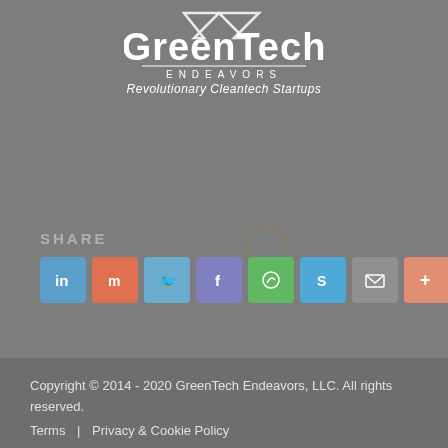[Figure (logo): GreenTech Endeavors logo with arrow/chart icon above text, tagline 'Revolutionary Cleantech Startups']
SHARE
[Figure (infographic): Row of social share icons: LinkedIn, Mix, Twitter, Facebook, WhatsApp, Skype, Email, More]
Copyright © 2014 - 2020 GreenTech Endeavors, LLC. All rights reserved.
Terms | Privacy & Cookie Policy